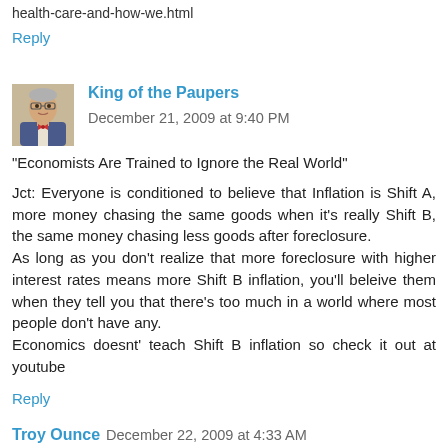health-care-and-how-we.html
Reply
King of the Paupers  December 21, 2009 at 9:40 PM
"Economists Are Trained to Ignore the Real World"

Jct: Everyone is conditioned to believe that Inflation is Shift A, more money chasing the same goods when it's really Shift B, the same money chasing less goods after foreclosure.
As long as you don't realize that more foreclosure with higher interest rates means more Shift B inflation, you'll beleive them when they tell you that there's too much in a world where most people don't have any.
Economics doesnt' teach Shift B inflation so check it out at youtube
Reply
Troy Ounce  December 22, 2009 at 4:33 AM